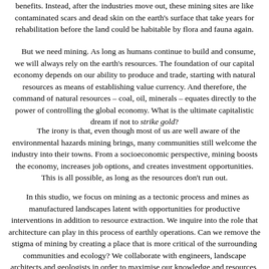benefits. Instead, after the industries move out, these mining sites are like contaminated scars and dead skin on the earth’s surface that take years for rehabilitation before the land could be habitable by flora and fauna again.
But we need mining. As long as humans continue to build and consume, we will always rely on the earth’s resources. The foundation of our capital economy depends on our ability to produce and trade, starting with natural resources as means of establishing value currency. And therefore, the command of natural resources – coal, oil, minerals – equates directly to the power of controlling the global economy. What is the ultimate capitalistic dream if not to strike gold?
The irony is that, even though most of us are well aware of the environmental hazards mining brings, many communities still welcome the industry into their towns. From a socioeconomic perspective, mining boosts the economy, increases job options, and creates investment opportunities. This is all possible, as long as the resources don’t run out.
In this studio, we focus on mining as a tectonic process and mines as manufactured landscapes latent with opportunities for productive interventions in addition to resource extraction. We inquire into the role that architecture can play in this process of earthly operations. Can we remove the stigma of mining by creating a place that is more critical of the surrounding communities and ecology? We collaborate with engineers, landscape architects and geologists in order to maximise our knowledge and resources, and to expand our scope of inquiry to include, not only the